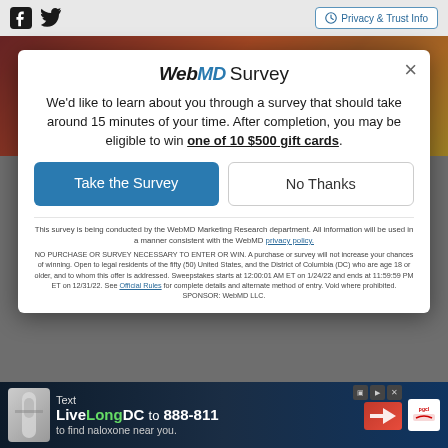Privacy & Trust Info
WebMD Survey
We'd like to learn about you through a survey that should take around 15 minutes of your time. After completion, you may be eligible to win one of 10 $500 gift cards.
Take the Survey
No Thanks
This survey is being conducted by the WebMD Marketing Research department. All information will be used in a manner consistent with the WebMD privacy policy.
NO PURCHASE OR SURVEY NECESSARY TO ENTER OR WIN. A purchase or survey will not increase your chances of winning. Open to legal residents of the fifty (50) United States, and the District of Columbia (DC) who are age 18 or older, and to whom this offer is addressed. Sweepstakes starts at 12:00:01 AM ET on 1/24/22 and ends at 11:59:59 PM ET on 12/31/22. See Official Rules for complete details and alternate method of entry. Void where prohibited. SPONSOR: WebMD LLC.
[Figure (infographic): Advertisement banner: Text LiveLongDC to 888-811 to find naloxone near you.]